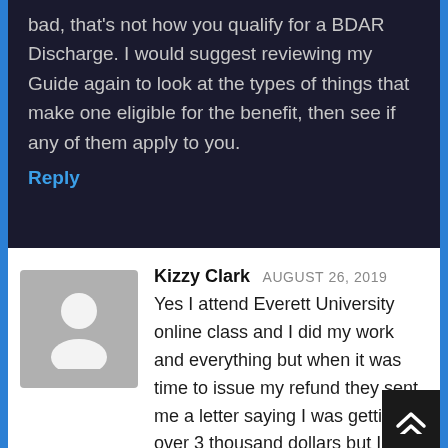bad, that's not how you qualify for a BDAR Discharge. I would suggest reviewing my Guide again to look at the types of things that make one eligible for the benefit, then see if any of them apply to you.
Reply
[Figure (illustration): Generic user avatar silhouette on gray background]
Kizzy Clark AUGUST 26, 2019
Yes I attend Everett University online class and I did my work and everything but when it was time to issue my refund they sent me a letter saying I was getting over 3 thousand dollars but I never did I was told it went toward my next semester..so I want to know why am I paying on loans and I didn't